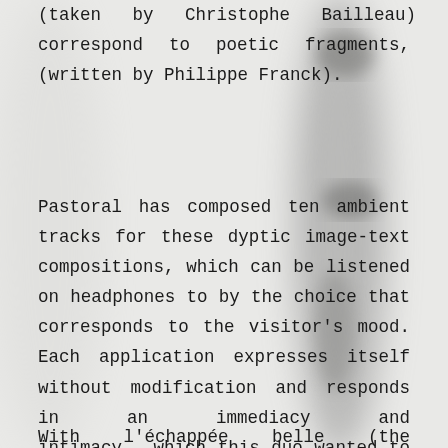(taken by Christophe Bailleau) that correspond to poetic fragments, (written by Philippe Franck).
Pastoral has composed ten ambient tracks for these dyptic image-text compositions, which can be listened on headphones to by the choice that corresponds to the visitor's mood. Each application expresses itself without modification and responds in an immediacy and intimacy...which this duo wanted to conserve for this escape into the quietness of a provincial reality, and unveils a strange surrealism, under this poetic and visual double-regard.
With l'échappée belle (the beautiful escape),